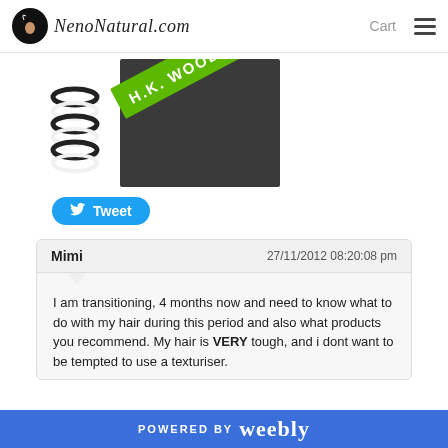NenoNatural.com  Cart
[Figure (photo): Product image showing a hair comb/stretcher tool with a black and white coiled spring on the left and a green diagonal label reading 'H.K. WOODWARD' against a dark background.]
[Figure (other): Twitter Tweet button — blue rounded button with Twitter bird icon and 'Tweet' text]
Mimi  27/11/2012 08:20:08 pm
I am transitioning, 4 months now and need to know what to do with my hair during this period and also what products you recommend. My hair is VERY tough, and i dont want to be tempted to use a texturiser.
POWERED BY weebly